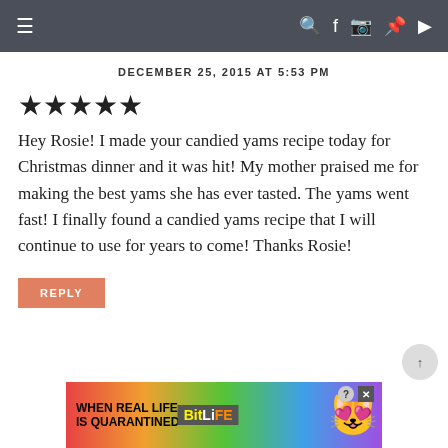Navigation bar with hamburger menu and social icons
DECEMBER 25, 2015 AT 5:53 PM
★★★★★
Hey Rosie! I made your candied yams recipe today for Christmas dinner and it was hit! My mother praised me for making the best yams she has ever tasted. The yams went fast! I finally found a candied yams recipe that I will continue to use for years to come! Thanks Rosie!
REPLY
[Figure (screenshot): Advertisement banner for BitLife game: 'When Real Life is Quarantined' with colorful gradient background and cartoon character]